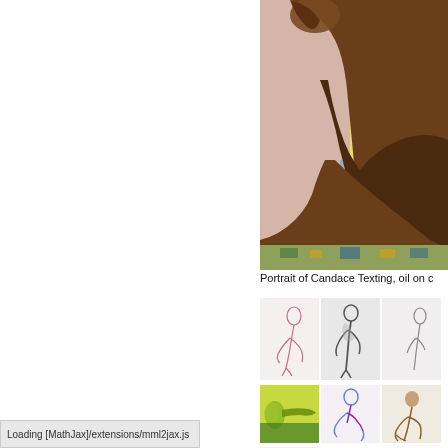[Figure (illustration): Large oil painting detail showing the back and side of a seated figure with dark brown skin tones against a yellow and muted background, cropped closely. Colorful floor visible at bottom.]
Portrait of Candace Texting, oil on c
[Figure (illustration): Small thumbnail: pink/red line drawing of seated nude figure]
[Figure (illustration): Small thumbnail: charcoal or graphite sketch of standing female figure seen from behind]
[Figure (illustration): Small thumbnail: partially visible figure sketch on light background]
[Figure (illustration): Small thumbnail: colorful reclining figure in green and yellow tones]
[Figure (illustration): Small thumbnail: blue/purple line figure in motion, kneeling]
[Figure (illustration): Small thumbnail: sepia/brown sketch of seated figure]
[Figure (illustration): Partial thumbnail at bottom: light background sketch, partially visible]
Loading [MathJax]/extensions/mml2jax.js